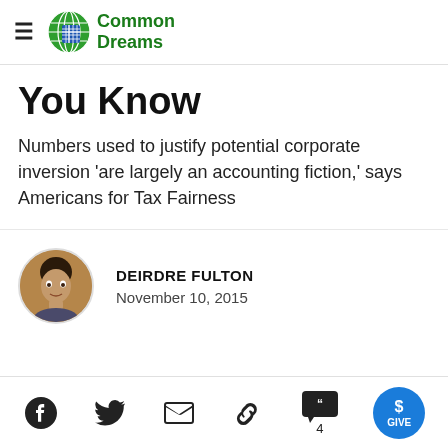Common Dreams
You Know
Numbers used to justify potential corporate inversion 'are largely an accounting fiction,' says Americans for Tax Fairness
DEIRDRE FULTON
November 10, 2015